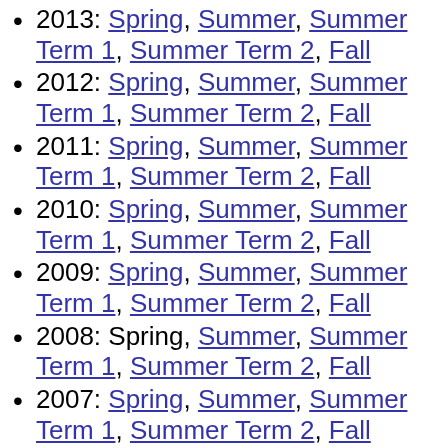2013: Spring, Summer, Summer Term 1, Summer Term 2, Fall
2012: Spring, Summer, Summer Term 1, Summer Term 2, Fall
2011: Spring, Summer, Summer Term 1, Summer Term 2, Fall
2010: Spring, Summer, Summer Term 1, Summer Term 2, Fall
2009: Spring, Summer, Summer Term 1, Summer Term 2, Fall
2008: Spring, Summer, Summer Term 1, Summer Term 2, Fall
2007: Spring, Summer, Summer Term 1, Summer Term 2, Fall
2006: Spring, Summer Term 1, Summer Term 2, Fall
2005: Spring, Summer Term 1, Summer Term 2, Fall
2004: Spring, Summer Term 1, Summer Term 2, Fall
2003: Spring, Summer Term 1, Summer Term 2, Fall
2002: Spring, Summer, Summer Term 1, Summer Term 2, Fall
2001: Spring, Summer, Summer Term 1,